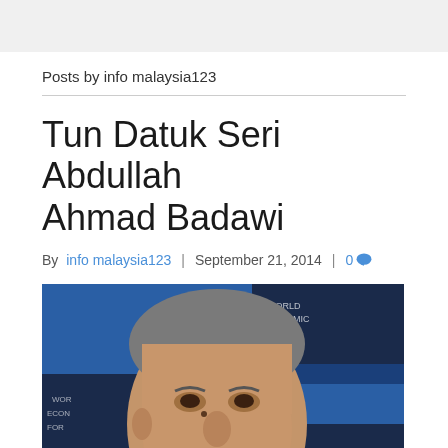Posts by info malaysia123
Tun Datuk Seri Abdullah Ahmad Badawi
By info malaysia123 | September 21, 2014 | 0
[Figure (photo): Close-up photograph of Tun Datuk Seri Abdullah Ahmad Badawi at the World Economic Forum, smiling slightly, with a blue background showing partial WEF signage]